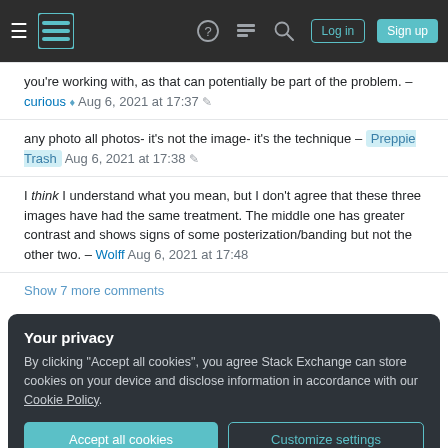Stack Exchange navigation bar with hamburger, logo, help, chat, search, Log in, Sign up
you're working with, as that can potentially be part of the problem. – curious ♦ Aug 6, 2021 at 17:37 ✎
any photo all photos- it's not the image- it's the technique – Preppie Trash Aug 6, 2021 at 17:38 ✎
I think I understand what you mean, but I don't agree that these three images have had the same treatment. The middle one has greater contrast and shows signs of some posterization/banding but not the other two. – Wolff Aug 6, 2021 at 17:48
Show 7 more comments
Your privacy
By clicking "Accept all cookies", you agree Stack Exchange can store cookies on your device and disclose information in accordance with our Cookie Policy.
Accept all cookies  Customize settings